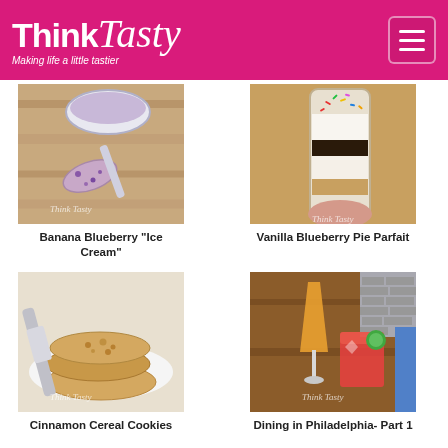Think Tasty — Making life a little tastier
[Figure (photo): Bowl and spoon with blueberry banana ice cream, lavender-purple color on wooden background]
Banana Blueberry “Ice Cream”
[Figure (photo): Glass jar with layered vanilla blueberry pie parfait topped with colorful sprinkles]
Vanilla Blueberry Pie Parfait
[Figure (photo): Stack of cinnamon cereal cookies on a white plate with a spatula]
Cinnamon Cereal Cookies
[Figure (photo): Two cocktail drinks on a wooden table — a champagne flute with orange drink and a rocks glass with pink drink and lime]
Dining in Philadelphia- Part 1